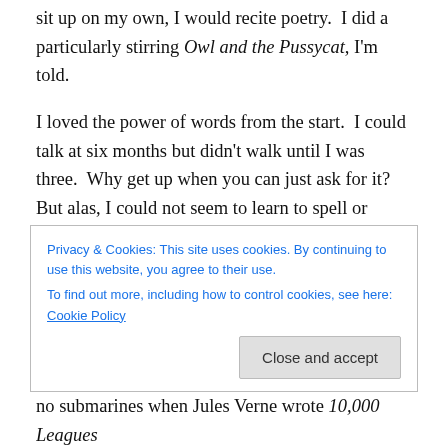sit up on my own, I would recite poetry.  I did a particularly stirring Owl and the Pussycat, I'm told.
I loved the power of words from the start.  I could talk at six months but didn't walk until I was three.  Why get up when you can just ask for it?  But alas, I could not seem to learn to spell or punctuate and still don't know which sides the knife and the fork go on or which way is west with consistency.  And so I fell in love with the power of the spoken word.  Stage left and camera right never change no matter which way you're facing, so I felt at home there.
Privacy & Cookies: This site uses cookies. By continuing to use this website, you agree to their use.
To find out more, including how to control cookies, see here: Cookie Policy
no submarines when Jules Verne wrote 10,000 Leagues